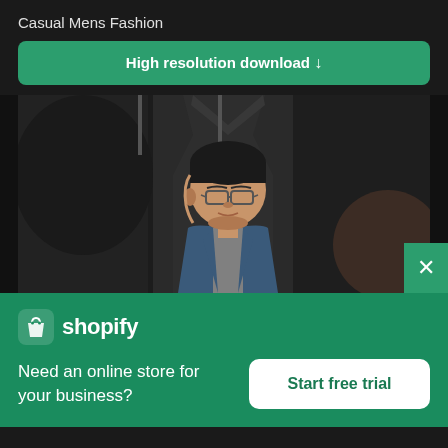Casual Mens Fashion
High resolution download ↓
[Figure (photo): A man wearing glasses and a blue jacket standing in front of dark suit jackets on hangers in a clothing store]
[Figure (logo): Shopify logo with shopping bag icon and 'shopify' wordmark in white]
Need an online store for your business?
Start free trial